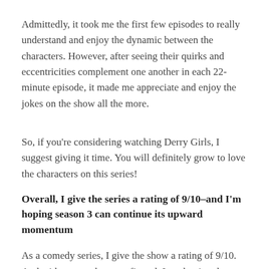Admittedly, it took me the first few episodes to really understand and enjoy the dynamic between the characters. However, after seeing their quirks and eccentricities complement one another in each 22-minute episode, it made me appreciate and enjoy the jokes on the show all the more.
So, if you're considering watching Derry Girls, I suggest giving it time. You will definitely grow to love the characters on this series!
Overall, I give the series a rating of 9/10–and I'm hoping season 3 can continue its upward momentum
As a comedy series, I give the show a rating of 9/10. And with season three confirmed, I am hoping the show